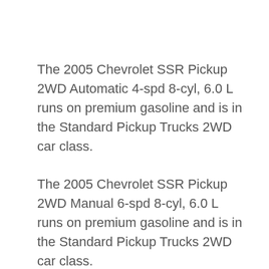The 2005 Chevrolet SSR Pickup 2WD Automatic 4-spd 8-cyl, 6.0 L runs on premium gasoline and is in the Standard Pickup Trucks 2WD car class.
The 2005 Chevrolet SSR Pickup 2WD Manual 6-spd 8-cyl, 6.0 L runs on premium gasoline and is in the Standard Pickup Trucks 2WD car class.